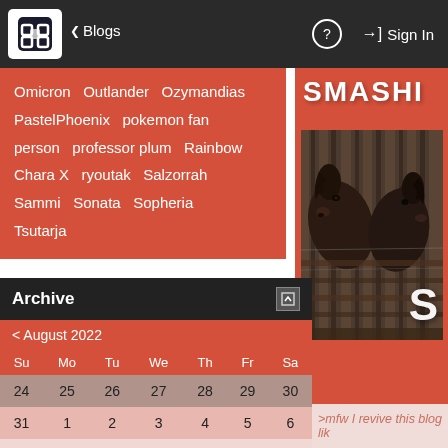Blogs | Sign In
Omicron  Outlander  Ozymandias  PastelPhoenix  pokemon fan  person  professor plum  Rainbow  Chara X  ryoutak  Salzorrah  Sammi  Sonata  Sopheria  Tsutarja
Archive
< August 2022
| Su | Mo | Tu | We | Th | Fr | Sa |
| --- | --- | --- | --- | --- | --- | --- |
| 24 | 25 | 26 | 27 | 28 | 29 | 30 |
| 31 | 1 | 2 | 3 | 4 | 5 | 6 |
| 7 | 8 | 9 | 10 | 11 | 12 | 13 |
| 14 | 15 | 16 | 17 | 18 | 19 | 20 |
[Figure (photo): Two dark horses leaning out of stable stalls, viewed through wooden stable gate slats]
SMASHI
>mfw I revive this blog lik